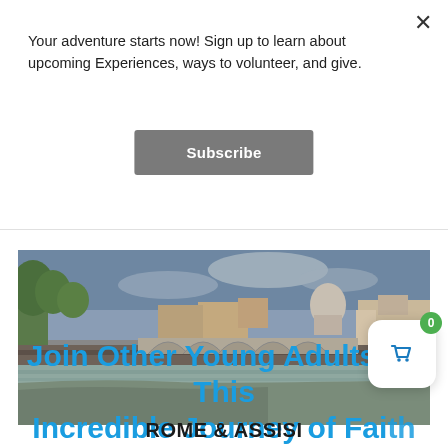Your adventure starts now! Sign up to learn about upcoming Experiences, ways to volunteer, and give.
Subscribe
[Figure (photo): Panoramic view of Rome showing a bridge over the Tiber River with historic buildings and a dome (St. Peter's Basilica) in the background under a cloudy sky]
Join Other Young Adults on This Incredible Journey of Faith
ROME & ASSISI